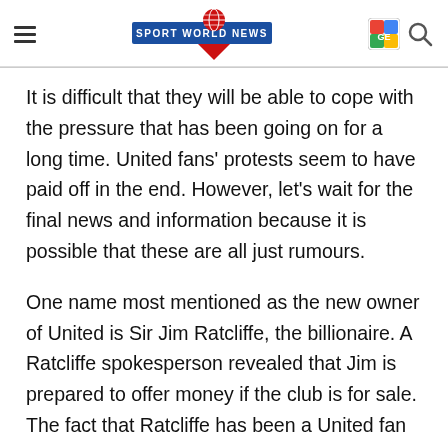Sport World News
It is difficult that they will be able to cope with the pressure that has been going on for a long time. United fans' protests seem to have paid off in the end. However, let's wait for the final news and information because it is possible that these are all just rumours.
One name most mentioned as the new owner of United is Sir Jim Ratcliffe, the billionaire. A Ratcliffe spokesperson revealed that Jim is prepared to offer money if the club is for sale. The fact that Ratcliffe has been a United fan since